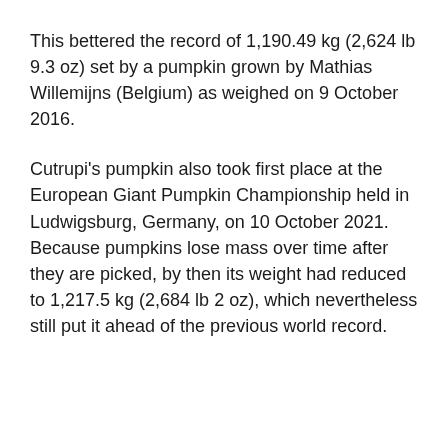This bettered the record of 1,190.49 kg (2,624 lb 9.3 oz) set by a pumpkin grown by Mathias Willemijns (Belgium) as weighed on 9 October 2016.
Cutrupi's pumpkin also took first place at the European Giant Pumpkin Championship held in Ludwigsburg, Germany, on 10 October 2021. Because pumpkins lose mass over time after they are picked, by then its weight had reduced to 1,217.5 kg (2,684 lb 2 oz), which nevertheless still put it ahead of the previous world record.